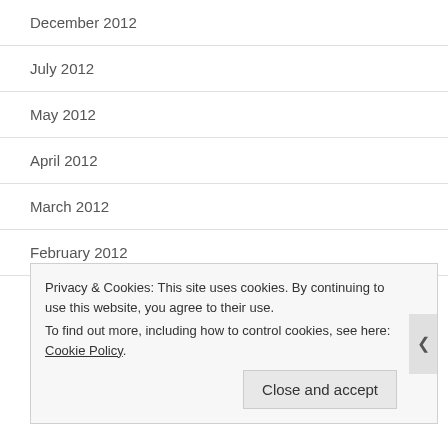December 2012
July 2012
May 2012
April 2012
March 2012
February 2012
January 2012
Privacy & Cookies: This site uses cookies. By continuing to use this website, you agree to their use. To find out more, including how to control cookies, see here: Cookie Policy